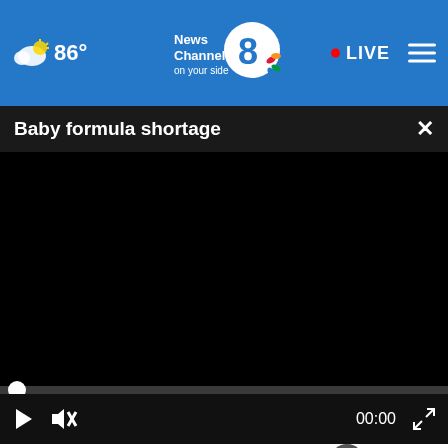86° News Channel 8 on your side — LIVE
Baby formula shortage
[Figure (screenshot): Black video player area, paused at 00:00 with progress bar and controls including play button, mute button, timestamp, and fullscreen button]
Ashburn Homeowners Are Getting Their Roof Replaced With This Special Program
Smart
Adopt a teen. You can't imagine the reward.